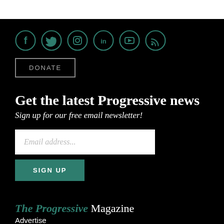[Figure (other): Row of social media icons: Facebook, Twitter, Instagram, LinkedIn, YouTube, RSS — all in teal outline circle style on black background]
DONATE
Get the latest Progressive news
Sign up for our free email newsletter!
[Figure (other): Email address input field (white rectangle with placeholder text 'Email address...')]
SIGN UP
The Progressive Magazine
Advertise